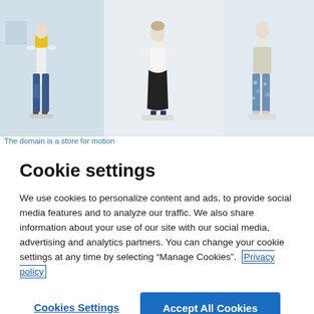[Figure (photo): Three mannequins displayed in a store window, wearing fashionable clothing including jeans with floral accents, a yellow scarf, a black skirt, and floral patterned pants. The setting is a bright retail display.]
The domain is a store for motion
Cookie settings
We use cookies to personalize content and ads, to provide social media features and to analyze our traffic. We also share information about your use of our site with our social media, advertising and analytics partners. You can change your cookie settings at any time by selecting “Manage Cookies”. Privacy policy
Cookies Settings
Accept All Cookies